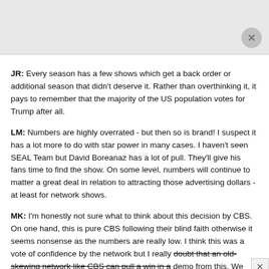[Figure (other): Gray advertisement banner with close circle button in bottom right]
JR: Every season has a few shows which get a back order or additional season that didn't deserve it. Rather than overthinking it, it pays to remember that the majority of the US population votes for Trump after all.
LM: Numbers are highly overrated - but then so is brand! I suspect it has a lot more to do with star power in many cases. I haven't seen SEAL Team but David Boreanaz has a lot of pull. They'll give his fans time to find the show. On some level, numbers will continue to matter a great deal in relation to attracting those advertising dollars - at least for network shows.
MK: I'm honestly not sure what to think about this decision by CBS. On one hand, this is pure CBS following their blind faith otherwise it seems nonsense as the numbers are really low. I think this was a vote of confidence by the network but I really doubt that an old-skewing network like CBS can pull a win in a demo from this. We shall see. Overall Networks are more patient with their backorders and find that pretty smart. Take a minute and learn the elements in overall platforms and b...